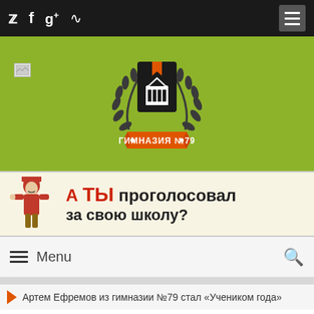Twitter Facebook Google+ RSS | Menu
[Figure (logo): Gymnasium No.79 school logo with laurel wreath and building icon, on green background]
[Figure (illustration): Banner: soldier figure with text 'А ТЫ проголосовал за свою школу?' (Have you voted for your school?)]
Menu
Артем Ефремов из гимназии №79 стал «Учеником года»